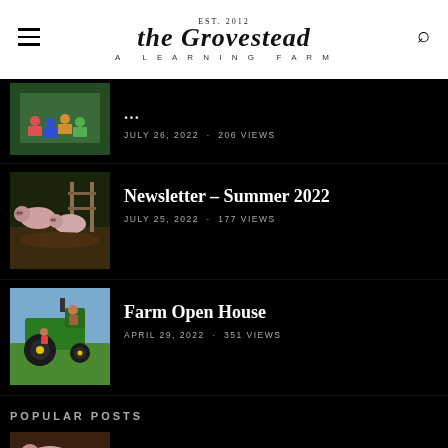EST. 2012 the Grovestead A LEARNING FARM
[Figure (photo): Thumbnail of people sitting outdoors in chairs at a farm event]
JULY 26, 2022 · 206 VIEWS
[Figure (photo): Thumbnail of pigs in a muddy pen]
Newsletter – Summer 2022
JULY 25, 2022 · 177 VIEWS
[Figure (photo): Thumbnail of person on a green John Deere tractor]
Farm Open House
APRIL 29, 2022 · 351 VIEWS
POPULAR POSTS
[Figure (photo): Thumbnail of popular post at the bottom]